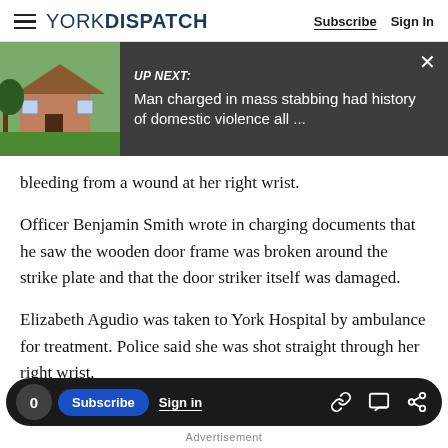YORK DISPATCH — Subscribe | Sign In
[Figure (screenshot): UP NEXT promo bar with thumbnail image of a house and headline: 'Man charged in mass stabbing had history of domestic violence all ...']
bleeding from a wound at her right wrist.
Officer Benjamin Smith wrote in charging documents that he saw the wooden door frame was broken around the strike plate and that the door striker itself was damaged.
Elizabeth Agudio was taken to York Hospital by ambulance for treatment. Police said she was shot straight through her right wrist.
0  Subscribe  Sign in  [link icon] [comment icon] [share icon]  Advertisement